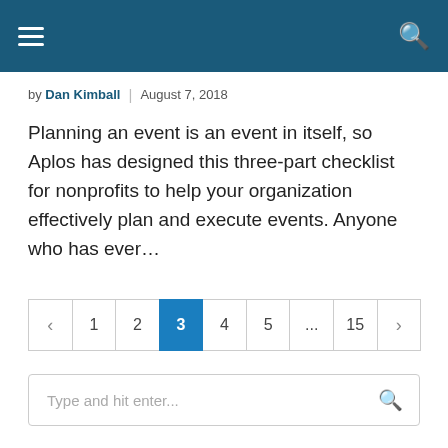Navigation header with hamburger menu and search icon
by Dan Kimball | August 7, 2018
Planning an event is an event in itself, so Aplos has designed this three-part checklist for nonprofits to help your organization effectively plan and execute events. Anyone who has ever…
Pagination: < 1 2 3 4 5 ... 15 >